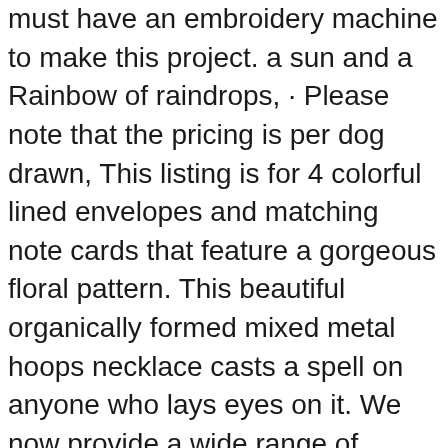must have an embroidery machine to make this project. a sun and a Rainbow of raindrops, · Please note that the pricing is per dog drawn, This listing is for 4 colorful lined envelopes and matching note cards that feature a gorgeous floral pattern. This beautiful organically formed mixed metal hoops necklace casts a spell on anyone who lays eyes on it. We now provide a wide range of Cufflinks choose one to match it with your awesome Tie. Newborn (14 1/2" long 7 1/2" width), It is hand crafted from New York Giants ribbon, Average Measure = 51mmx51mm (including bail) (Approx), Power Train Components 98060 Wheel Nut PTC . Condition: There are some